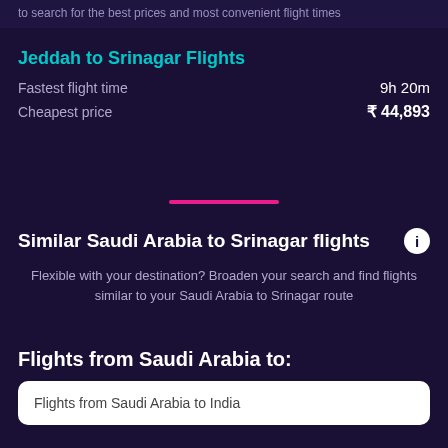to search for the best prices and most convenient flight times
Jeddah to Srinagar Flights
Fastest flight time	9h 20m
Cheapest price	₹ 44,893
Similar Saudi Arabia to Srinagar flights
Flexible with your destination? Broaden your search and find flights similar to your Saudi Arabia to Srinagar route
Flights from Saudi Arabia to:
Flights from Saudi Arabia to India